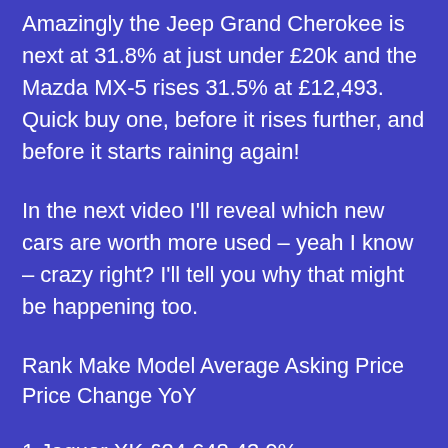Amazingly the Jeep Grand Cherokee is next at 31.8% at just under £20k and the Mazda MX-5 rises 31.5% at £12,493. Quick buy one, before it rises further, and before it starts raining again!
In the next video I'll reveal which new cars are worth more used – yeah I know – crazy right? I'll tell you why that might be happening too.
| Rank | Make | Model | Average Asking Price | Price Change YoY |
| --- | --- | --- | --- | --- |
| 1 | Jaguar | XK | £24,648 | 43.9% |